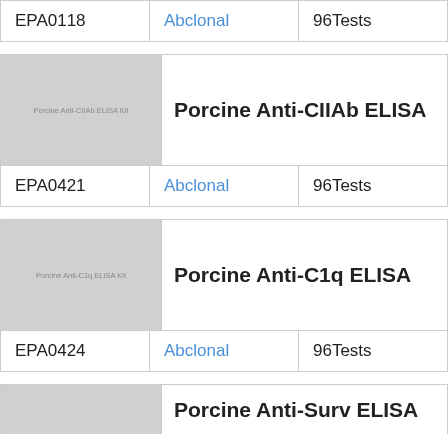| Catalog | Brand | Size |
| --- | --- | --- |
| EPA0118 | Abclonal | 96Tests |
[Figure (other): Porcine Anti-CIIAb ELISA Kit product image placeholder]
Porcine Anti-CIIAb ELISA
| Catalog | Brand | Size |
| --- | --- | --- |
| EPA0421 | Abclonal | 96Tests |
[Figure (other): Porcine Anti-C1q ELISA Kit product image placeholder]
Porcine Anti-C1q ELISA
| Catalog | Brand | Size |
| --- | --- | --- |
| EPA0424 | Abclonal | 96Tests |
[Figure (other): Porcine Anti-Surv ELISA Kit product image placeholder]
Porcine Anti-Surv ELISA